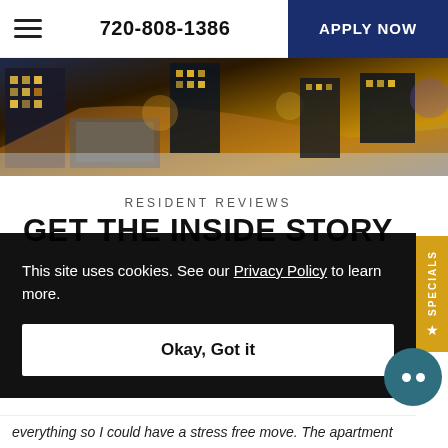720-808-1386 | APPLY NOW
[Figure (photo): Aerial night view of apartment complex and surrounding city streets with warm lighting and snow]
RESIDENT REVIEWS
GET THE INSIDE STORY
This site uses cookies. See our Privacy Policy to learn more.
Okay, Got it
everything so I could have a stress free move. The apartment